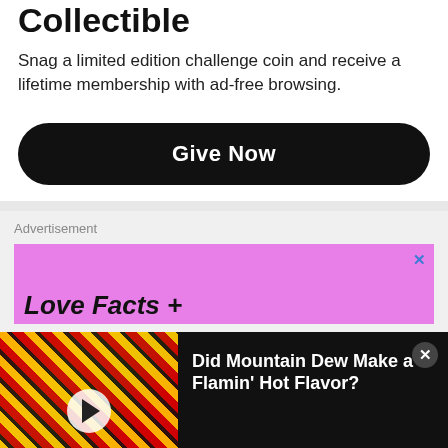Collectible
Snag a limited edition challenge coin and receive a lifetime membership with ad-free browsing.
Give Now
Advertisement
Love Facts +
[Figure (screenshot): Mountain Dew Flamin' Hot video thumbnail with play button overlay]
Did Mountain Dew Make a Flamin’ Hot Flavor?
[Figure (screenshot): BitLife Life Simulator app install advertisement at bottom of screen]
BitLife - Life Simulator
Install!